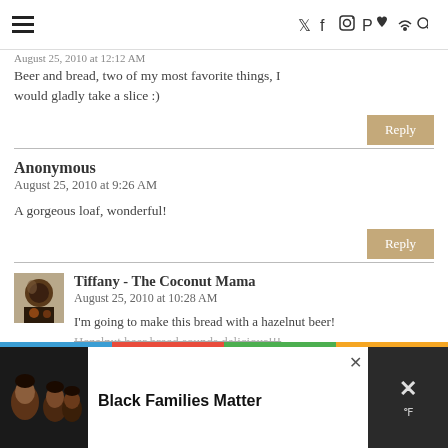[hamburger menu] [twitter] [facebook] [instagram] [pinterest] [heart] [rss] [search]
August 25, 2010 at 12:12 AM
Beer and bread, two of my most favorite things, I would gladly take a slice :)
Reply
Anonymous
August 25, 2010 at 9:26 AM
A gorgeous loaf, wonderful!
Reply
Tiffany - The Coconut Mama
August 25, 2010 at 10:28 AM
I'm going to make this bread with a hazelnut beer! Hazelnut beer bread sounds delicious!!!
[Figure (photo): Advertisement banner: Black Families Matter with family photo on left and dark panel on right with X symbol]